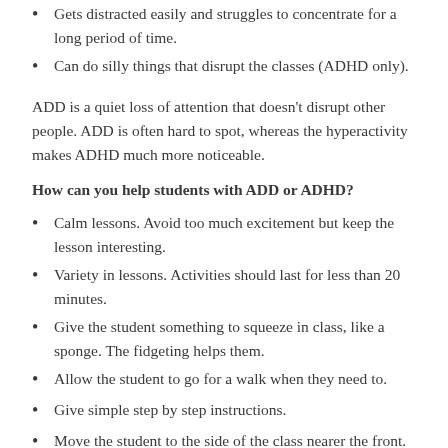Gets distracted easily and struggles to concentrate for a long period of time.
Can do silly things that disrupt the classes (ADHD only).
ADD is a quiet loss of attention that doesn't disrupt other people. ADD is often hard to spot, whereas the hyperactivity makes ADHD much more noticeable.
How can you help students with ADD or ADHD?
Calm lessons. Avoid too much excitement but keep the lesson interesting.
Variety in lessons. Activities should last for less than 20 minutes.
Give the student something to squeeze in class, like a sponge. The fidgeting helps them.
Allow the student to go for a walk when they need to.
Give simple step by step instructions.
Move the student to the side of the class nearer the front. This is because they have fewer visual distractions at the front and side of